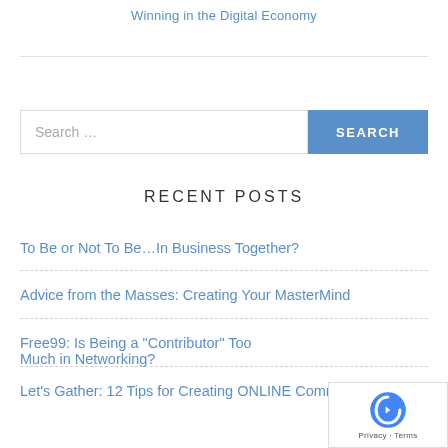Winning in the Digital Economy
To Be or Not To Be…In Business Together?
Advice from the Masses: Creating Your MasterMind
Free99: Is Being a "Contributor" Too Much in Networking?
Let's Gather: 12 Tips for Creating ONLINE Communities